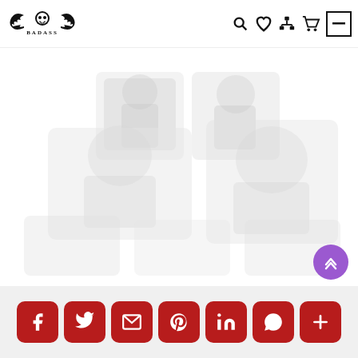[Figure (logo): Badass brand logo with skull and wings, decorative gothic lettering]
[Figure (illustration): Faded/watermarked product images in the main content area — appears to be clothing or accessory items shown in light gray tones]
[Figure (infographic): Social share bar at bottom with 7 rounded red buttons: Facebook, Twitter, Email, Pinterest, LinkedIn, WhatsApp, More (+)]